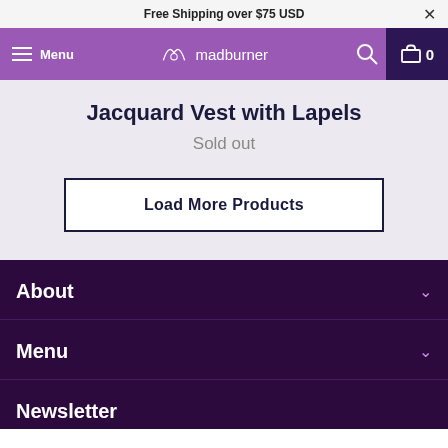Free Shipping over $75 USD
[Figure (screenshot): Purple navigation bar with hamburger menu, madburner logo, search icon, and cart button showing 0 items]
Jacquard Vest with Lapels
Sold out
Load More Products
About
Menu
Newsletter